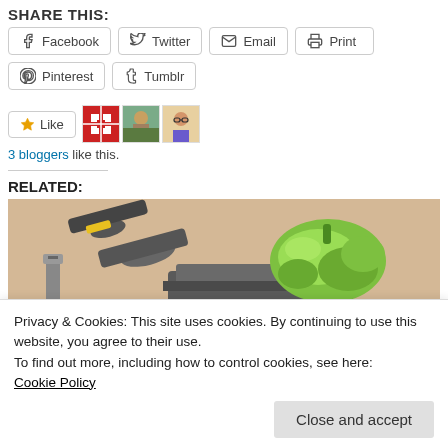SHARE THIS:
Facebook | Twitter | Email | Print | Pinterest | Tumblr
3 bloggers like this.
RELATED:
[Figure (photo): Photo of pliers, a bolt/nail, and a green pepper-shaped object sitting on a metal vise or anvil, with a beige background]
Privacy & Cookies: This site uses cookies. By continuing to use this website, you agree to their use.
To find out more, including how to control cookies, see here:
Cookie Policy
Close and accept
In "Endometriosis"